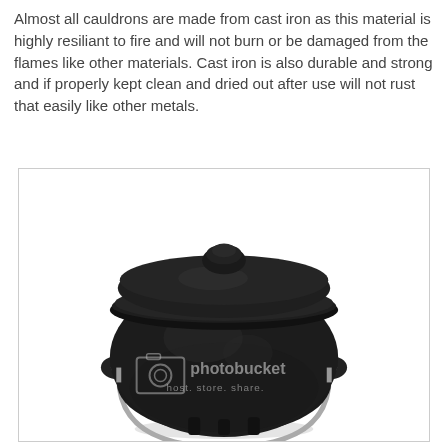Almost all cauldrons are made from cast iron as this material is highly resiliant to fire and will not burn or be damaged from the flames like other materials. Cast iron is also durable and strong and if properly kept clean and dried out after use will not rust that easily like other metals.
[Figure (photo): A black cast iron cauldron with a lid featuring a knob on top, two side lugs, and a metal bail handle. A photobucket watermark is visible in the lower-center area of the image.]